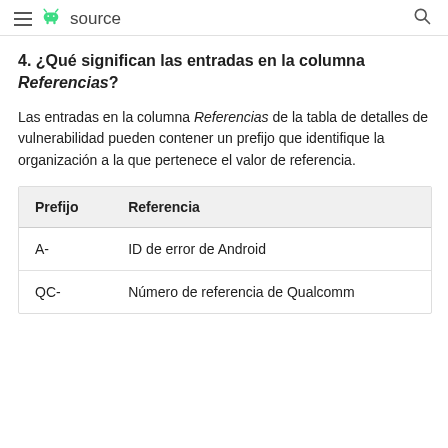≡ Android source 🔍
4. ¿Qué significan las entradas en la columna Referencias?
Las entradas en la columna Referencias de la tabla de detalles de vulnerabilidad pueden contener un prefijo que identifique la organización a la que pertenece el valor de referencia.
| Prefijo | Referencia |
| --- | --- |
| A- | ID de error de Android |
| QC- | Número de referencia de Qualcomm |